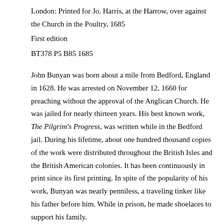London: Printed for Jo. Harris, at the Harrow, over against the Church in the Poultry, 1685
First edition
BT378 P5 B85 1685
John Bunyan was born about a mile from Bedford, England in 1628. He was arrested on November 12, 1660 for preaching without the approval of the Anglican Church. He was jailed for nearly thirteen years. His best known work, The Pilgrim's Progress, was written while in the Bedford jail. During his lifetime, about one hundred thousand copies of the work were distributed throughout the British Isles and the British American colonies. It has been continuously in print since its first printing. In spite of the popularity of his work, Bunyan was nearly penniless, a traveling tinker like his father before him. While in prison, he made shoelaces to support his family.